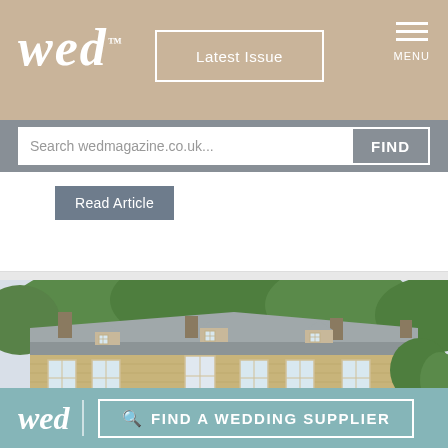wed — Latest Issue — MENU
Search wedmagazine.co.uk...
Read Article
[Figure (photo): Exterior of a large stone country house/manor with dormer windows, chimneys, and surrounding greenery and trees in summer]
wed — FIND A WEDDING SUPPLIER